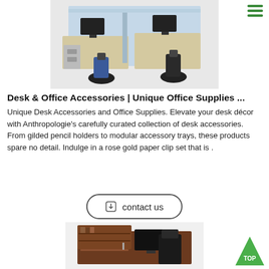[Figure (photo): Office cubicle workstation setup with blue mesh chairs and modular desk dividers]
Desk & Office Accessories | Unique Office Supplies ...
Unique Desk Accessories and Office Supplies. Elevate your desk décor with Anthropologie's carefully curated collection of desk accessories. From gilded pencil holders to modular accessory trays, these products spare no detail. Indulge in a rose gold paper clip set that is .
[Figure (other): Contact us button with download icon]
[Figure (photo): Brown wooden office desk with hutch, monitor, and mesh office chair]
[Figure (other): Green TOP badge triangle button in bottom right corner]